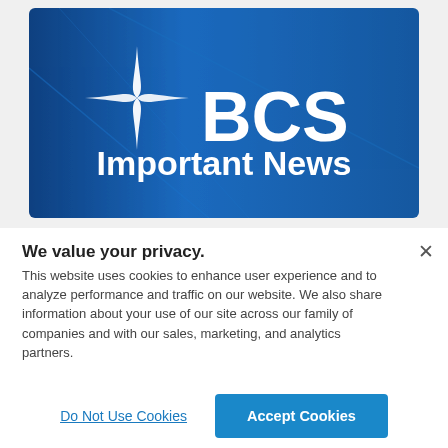[Figure (illustration): BCS Important News banner with dark blue gradient background, white four-pointed star logo to the left of large white 'BCS' text, and 'Important News' text below in white bold font.]
We value your privacy.
This website uses cookies to enhance user experience and to analyze performance and traffic on our website. We also share information about your use of our site across our family of companies and with our sales, marketing, and analytics partners.
Do Not Use Cookies
Accept Cookies